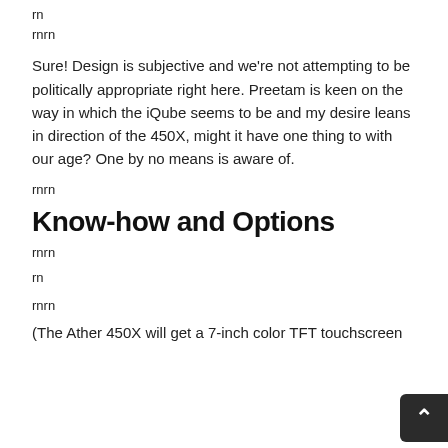rn
rnrn
Sure! Design is subjective and we're not attempting to be politically appropriate right here. Preetam is keen on the way in which the iQube seems to be and my desire leans in direction of the 450X, might it have one thing to with our age? One by no means is aware of.
rnrn
Know-how and Options
rnrn
rn
rnrn
(The Ather 450X will get a 7-inch color TFT touchscreen with SIM-based connectivity and in-built navigation)